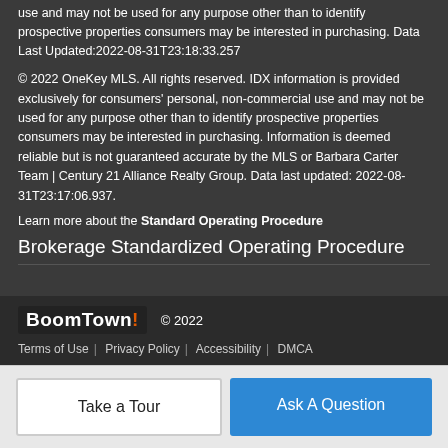use and may not be used for any purpose other than to identify prospective properties consumers may be interested in purchasing. Data Last Updated:2022-08-31T23:18:33.257
© 2022 OneKey MLS. All rights reserved. IDX information is provided exclusively for consumers' personal, non-commercial use and may not be used for any purpose other than to identify prospective properties consumers may be interested in purchasing. Information is deemed reliable but is not guaranteed accurate by the MLS or Barbara Carter Team | Century 21 Alliance Realty Group. Data last updated: 2022-08-31T23:17:06.937.
Learn more about the Standard Operating Procedure
Brokerage Standardized Operating Procedure
BoomTown! © 2022
Terms of Use | Privacy Policy | Accessibility | DMCA
Take a Tour
Ask A Question